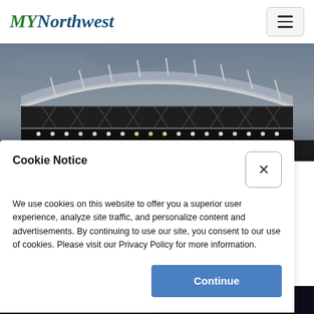MYNorthwest
[Figure (photo): Stadium roof structure at dusk with lights illuminating the underside of the curved roof and truss framework against a cloudy sky]
Cookie Notice
We use cookies on this website to offer you a superior user experience, analyze site traffic, and personalize content and advertisements. By continuing to use our site, you consent to our use of cookies. Please visit our Privacy Policy for more information.
[Figure (photo): Dark nighttime photo strip at the bottom of the page]